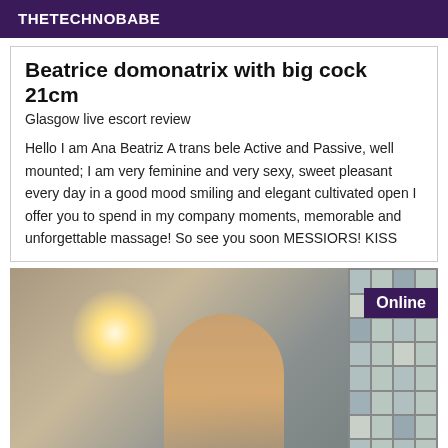THETECHNOBABE
Beatrice domonatrix with big cock 21cm
Glasgow live escort review
Hello I am Ana Beatriz A trans bele Active and Passive, well mounted; I am very feminine and very sexy, sweet pleasant every day in a good mood smiling and elegant cultivated open I offer you to spend in my company moments, memorable and unforgettable massage! So see you soon MESSIORS! KISS
[Figure (photo): Photo of a person with light/wall art background, with 'Online' badge overlay]